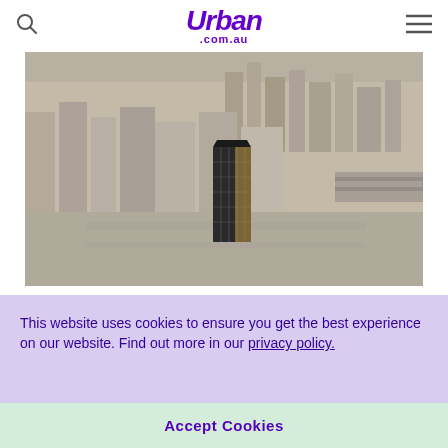Urban .com.au
[Figure (photo): Aerial view of a dense urban city with skyscrapers; a distinctive dark glass tower stands out in the center of the frame.]
This website uses cookies to ensure you get the best experience on our website. Find out more in our privacy policy.
Accept Cookies